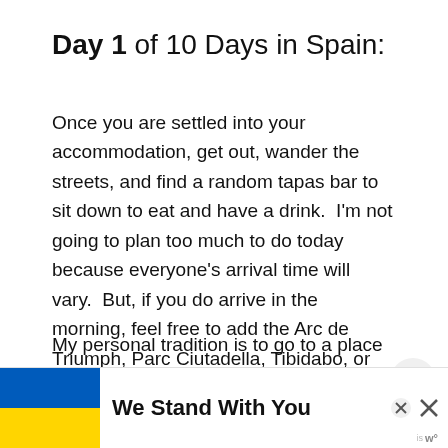Day 1 of 10 Days in Spain:
Once you are settled into your accommodation, get out, wander the streets, and find a random tapas bar to sit down to eat and have a drink.  I'm not going to plan too much to do today because everyone's arrival time will vary.  But, if you do arrive in the morning, feel free to add the Arc de Triumph, Parc Ciutadella, Tibidabo, or the Palau de la Musica Catalana to this day.
My personal tradition is to go to a place
[Figure (other): Banner overlay with Ukrainian flag (blue and yellow), text 'We Stand With You', and close buttons. Share icon button (circle with share symbol) at right side. Weather widget at bottom right.]